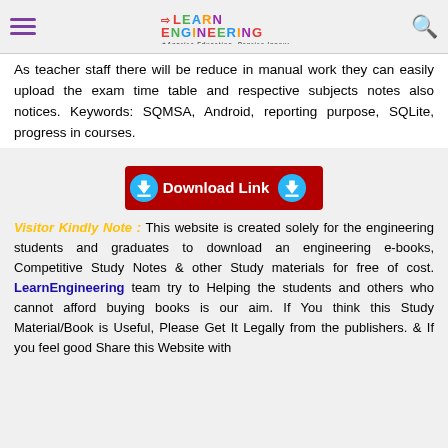LEARN ENGINEERING - Apprise Education, Reprise Innovations
As teacher staff there will be reduce in manual work they can easily upload the exam time table and respective subjects notes also notices. Keywords: SQMSA, Android, reporting purpose, SQLite, progress in courses.
[Figure (other): Download Link button with download icons on red background]
Visitor Kindly Note : This website is created solely for the engineering students and graduates to download an engineering e-books, Competitive Study Notes & other Study materials for free of cost. LearnEngineering team try to Helping the students and others who cannot afford buying books is our aim. If You think this Study Material/Book is Useful, Please Get It Legally from the publishers. & If you feel good Share this Website with